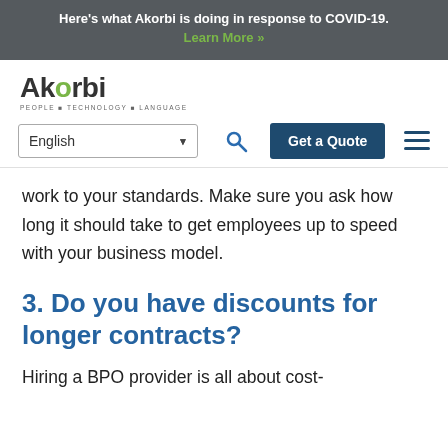Here’s what Akorbi is doing in response to COVID-19. Learn More »
[Figure (logo): Akorbi logo with tagline PEOPLE TECHNOLOGY LANGUAGE]
English ▼ [search icon] Get a Quote [hamburger menu]
work to your standards. Make sure you ask how long it should take to get employees up to speed with your business model.
3. Do you have discounts for longer contracts?
Hiring a BPO provider is all about cost-